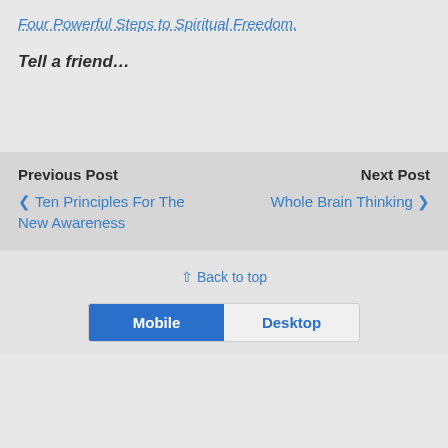Four Powerful Steps to Spiritual Freedom.
Tell a friend…
Previous Post
❮ Ten Principles For The New Awareness
Next Post
Whole Brain Thinking ❯
⇪ Back to top
Mobile
Desktop